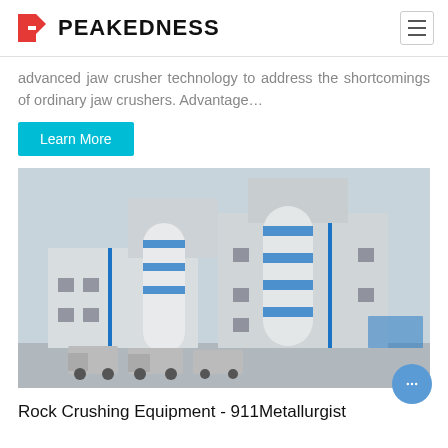PEAKEDNESS
advanced jaw crusher technology to address the shortcomings of ordinary jaw crushers. Advantage…
Learn More
[Figure (photo): Industrial building with large cylindrical silos with blue and white bands, multiple stories, trucks visible at ground level, overcast sky.]
Rock Crushing Equipment - 911Metallurgist